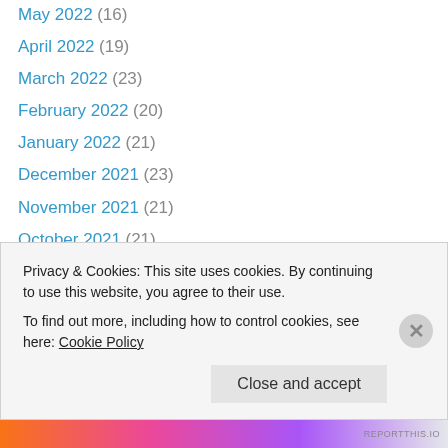May 2022 (16)
April 2022 (19)
March 2022 (23)
February 2022 (20)
January 2022 (21)
December 2021 (23)
November 2021 (21)
October 2021 (21)
September 2021 (22)
August 2021 (22)
July 2021 (22)
June 2021 (22)
May 2021 (21)
April 2021 (22)
Privacy & Cookies: This site uses cookies. By continuing to use this website, you agree to their use.
To find out more, including how to control cookies, see here: Cookie Policy
Close and accept